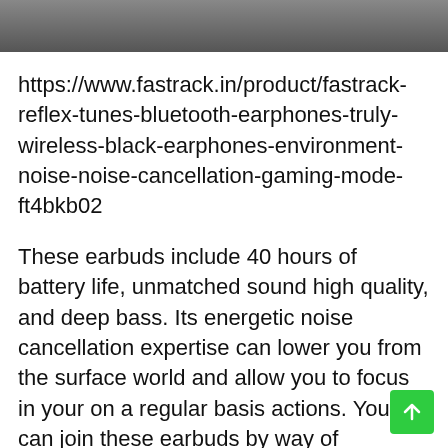[Figure (photo): Dark grayscale image bar at top of page, partial product photo]
https://www.fastrack.in/product/fastrack-reflex-tunes-bluetooth-earphones-truly-wireless-black-earphones-environment-noise-noise-cancellation-gaming-mode-ft4bkb02
These earbuds include 40 hours of battery life, unmatched sound high quality, and deep bass. Its energetic noise cancellation expertise can lower you from the surface world and allow you to focus in your on a regular basis actions. You can join these earbuds by way of Bluetooth to your